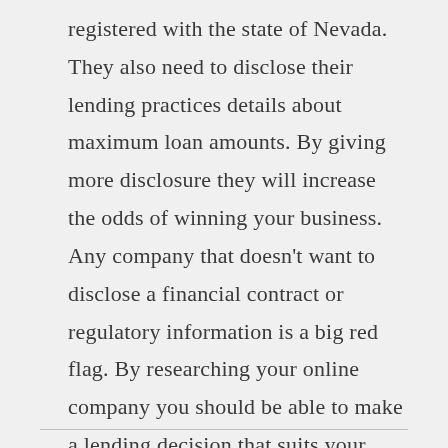registered with the state of Nevada. They also need to disclose their lending practices details about maximum loan amounts. By giving more disclosure they will increase the odds of winning your business. Any company that doesn’t want to disclose a financial contract or regulatory information is a big red flag. By researching your online company you should be able to make a lending decision that suits your cash needs.